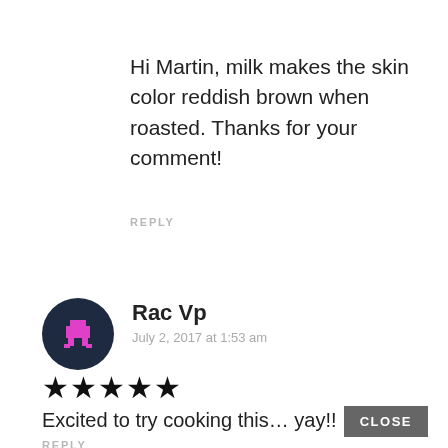Hi Martin, milk makes the skin color reddish brown when roasted. Thanks for your comment!
REPLY
[Figure (illustration): User avatar: dark navy circular avatar with pink pixel-art character icon for Rac Vp]
Rac Vp
July 2, 2017 at 1:53 am
★★★★★
Excited to try cooking this… yay!!
CLOSE
REPLY